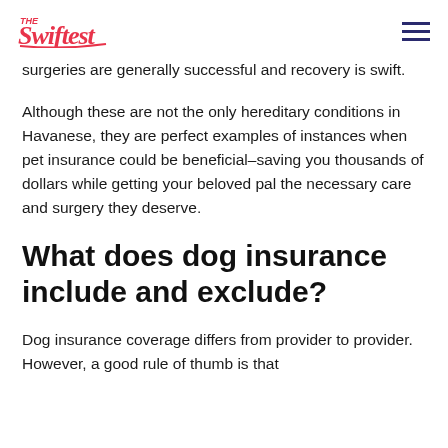The Swiftest
surgeries are generally successful and recovery is swift.
Although these are not the only hereditary conditions in Havanese, they are perfect examples of instances when pet insurance could be beneficial–saving you thousands of dollars while getting your beloved pal the necessary care and surgery they deserve.
What does dog insurance include and exclude?
Dog insurance coverage differs from provider to provider. However, a good rule of thumb is that